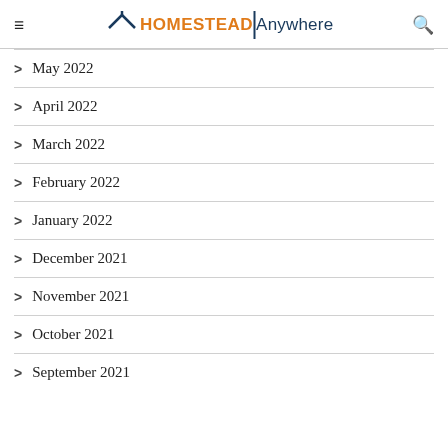HOMESTEAD Anywhere
May 2022
April 2022
March 2022
February 2022
January 2022
December 2021
November 2021
October 2021
September 2021